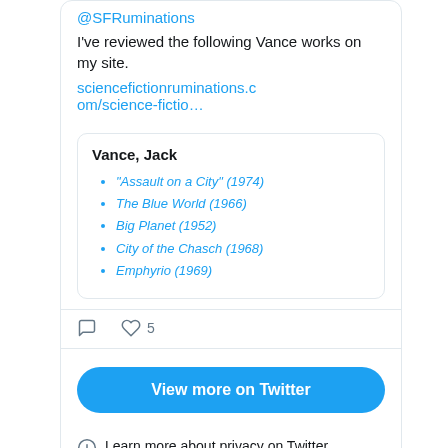@SFRuminations
I've reviewed the following Vance works on my site.
sciencefictionruminations.com/science-fictio…
| Vance, Jack |
| --- |
| "Assault on a City" (1974) |
| The Blue World (1966) |
| Big Planet (1952) |
| City of the Chasch (1968) |
| Emphyrio (1969) |
5 likes
View more on Twitter
Learn more about privacy on Twitter